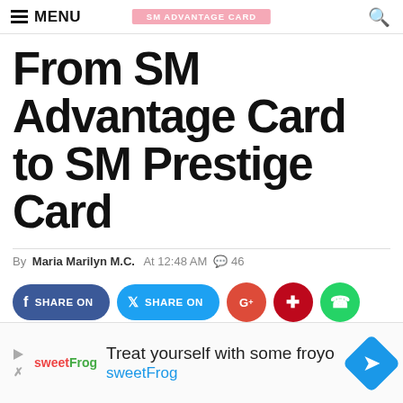MENU  [SM ADVANTAGE CARD]
From SM Advantage Card to SM Prestige Card
By Maria Marilyn M.C.  At 12:48 AM  💬 46
[Figure (infographic): Social sharing buttons: Facebook SHARE ON (blue-purple rounded), Twitter SHARE ON (cyan rounded), Google+ (red circle), Pinterest (dark red circle), WhatsApp (green circle)]
[Figure (infographic): Advertisement banner: sweetFrog logo, text 'Treat yourself with some froyo', 'sweetFrog' in blue, blue diamond arrow icon]